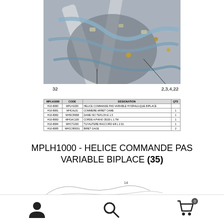[Figure (photo): Close-up photo of an aircraft engine compartment showing hydraulic tubing, hoses, fittings, and metal components with callout lines labeled 32 and 2,3,4,22]
32   2,3,4,22
| MPLH1000 | CODE | DESIGNATION | QTE |
| --- | --- | --- | --- |
| H10-8080 | MPLH1000 | HELICE COMMANDE PAS VARIABLE HYDRAULIQUE BIPLACE |  |
| H10-8081 | MHCAL01 | COMMERE ARRET CAME | 1 |
| H10-8082 | MHSCR088 | DAME ISO TEFLON E 1.5 | 1 |
| H10-8083 | MHGAC100 | CORDE A PIANO 35/20 L 1.7M | 1 |
| H10-8084 | MHCT1000 | TUYAUTERIE RACCORD 6/8 L 2.91 | 1 |
| H10-8085 | MHCCR0001 | BIRET GAGE | 2 |
MPLH1000 - HELICE COMMANDE PAS VARIABLE BIPLACE (35)
[Figure (schematic): Partial schematic/diagram sketch visible at bottom of page with callout number 10 and 14 visible]
[Figure (other): Bottom toolbar with user icon, search icon, and cart icon with badge showing 0]